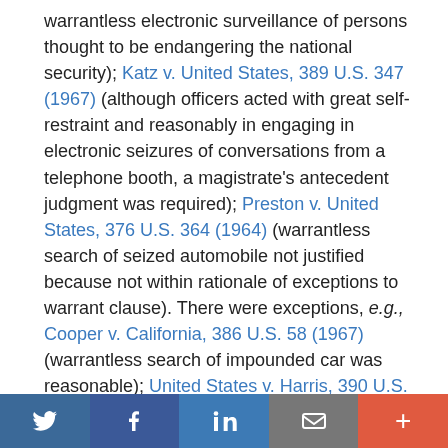warrantless electronic surveillance of persons thought to be endangering the national security); Katz v. United States, 389 U.S. 347 (1967) (although officers acted with great self-restraint and reasonably in engaging in electronic seizures of conversations from a telephone booth, a magistrate's antecedent judgment was required); Preston v. United States, 376 U.S. 364 (1964) (warrantless search of seized automobile not justified because not within rationale of exceptions to warrant clause). There were exceptions, e.g., Cooper v. California, 386 U.S. 58 (1967) (warrantless search of impounded car was reasonable); United States v. Harris, 390 U.S. 234 (1968) (warrantless inventory search of automobile).
7.   See, e.g., Almeida-Sanchez v. United States, 413 U.S. 266 (1973), Justices Stewart, Douglas, Brennan, and Marshall adhered to the warrant-based rule, while Justices
Twitter  Facebook  LinkedIn  Email  +